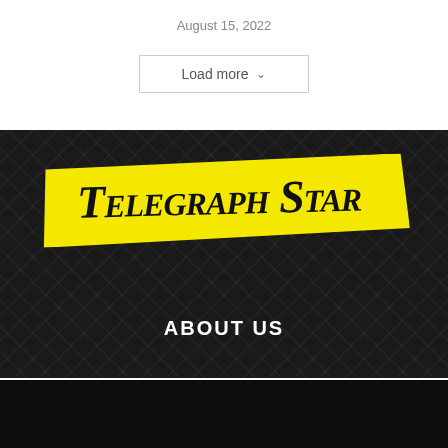August 15, 2022
Load more
[Figure (logo): Telegraph Star newspaper logo — black Gothic/Old English text on a bright yellow ribbon banner, set against a dark architectural background with 'ABOUT US' text below]
ABOUT US